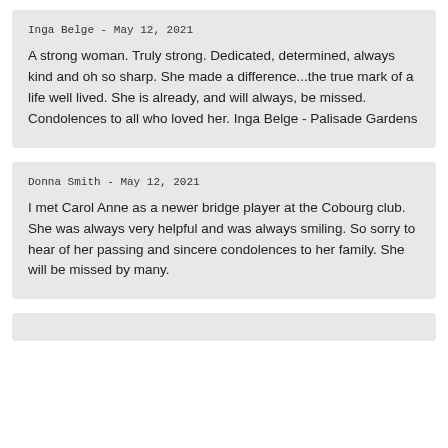Inga Belge - May 12, 2021

A strong woman. Truly strong. Dedicated, determined, always kind and oh so sharp. She made a difference...the true mark of a life well lived. She is already, and will always, be missed. Condolences to all who loved her. Inga Belge - Palisade Gardens
Donna Smith - May 12, 2021

I met Carol Anne as a newer bridge player at the Cobourg club. She was always very helpful and was always smiling. So sorry to hear of her passing and sincere condolences to her family. She will be missed by many.